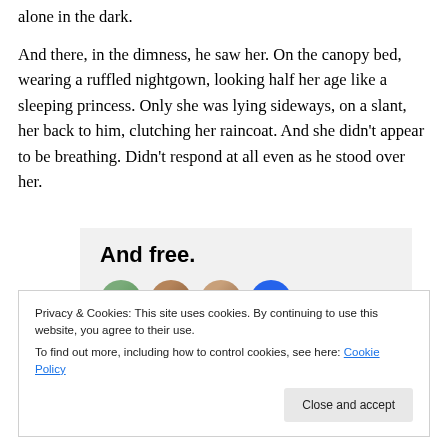alone in the dark.

And there, in the dimness, he saw her. On the canopy bed, wearing a ruffled nightgown, looking half her age like a sleeping princess. Only she was lying sideways, on a slant, her back to him, clutching her raincoat. And she didn't appear to be breathing. Didn't respond at all even as he stood over her.
[Figure (other): Advertisement banner with bold text 'And free.' and four circular avatar photos of people below it, on a light grey background.]
Privacy & Cookies: This site uses cookies. By continuing to use this website, you agree to their use.
To find out more, including how to control cookies, see here: Cookie Policy

[Close and accept button]